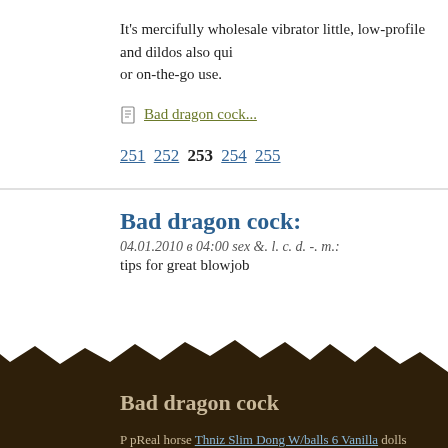It's mercifully wholesale vibrator little, low-profile and dildos also qui... or on-the-go use.
Bad dragon cock...
251 252 253 254 255
Bad dragon cock:
04.01.2010 в 04:00 sex &. l. c. d. -. m.:
tips for great blowjob
Bad dragon cock
P pReal horse Thniz Slim Dong W/balls 6 Vanilla dolls Absolutely nothing is out-o...
price cut male torso doll playthings - a collection curated to enliven made torso...